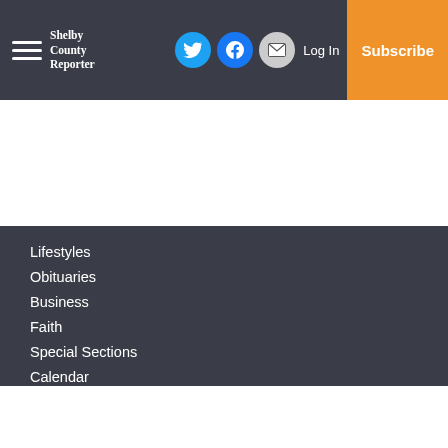Shelby County Reporter — navigation bar with hamburger menu, Twitter, Facebook, Email icons, Log In, Subscribe
Lifestyles
Obituaries
Business
Faith
Special Sections
Calendar
Small Business
Services
About Us
Subscriptions
Policies
Submit a News Tip
Submit a Photo
Birth Announcement